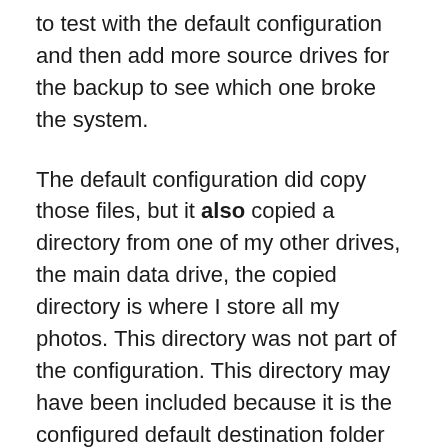to test with the default configuration and then add more source drives for the backup to see which one broke the system.
The default configuration did copy those files, but it also copied a directory from one of my other drives, the main data drive, the copied directory is where I store all my photos. This directory was not part of the configuration. This directory may have been included because it is the configured default destination folder for the Windows photo import software.
However, when I added the rest of that drive to the list of folders to copy, no further files were copied (although a couple of days later some of the upper level folders did get backed up, none of the important